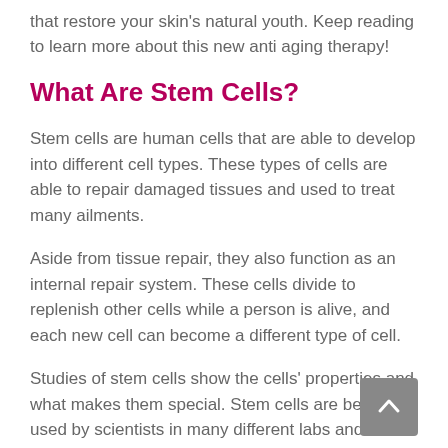that restore your skin's natural youth. Keep reading to learn more about this new anti aging therapy!
What Are Stem Cells?
Stem cells are human cells that are able to develop into different cell types. These types of cells are able to repair damaged tissues and used to treat many ailments.
Aside from tissue repair, they also function as an internal repair system. These cells divide to replenish other cells while a person is alive, and each new cell can become a different type of cell.
Studies of stem cells show the cells' properties and what makes them special. Stem cells are being used by scientists in many different labs and